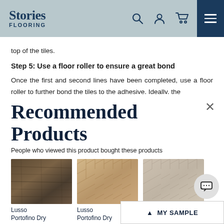Stories Flooring
top of the tiles.
Step 5: Use a floor roller to ensure a great bond
Once the first and second lines have been completed, use a floor roller to further bond the tiles to the adhesive. Ideally, the
Recommended Products
People who viewed this product bought these products
[Figure (photo): Lusso Portofino Dry flooring product - dark wood plank texture]
[Figure (photo): Lusso Portofino Dry flooring product - light herringbone parquet texture]
[Figure (photo): Lusso Portofino flooring product - pale herringbone parquet texture]
Lusso
Portofino Dry
Lusso
Portofino Dry
Lusso
Porto